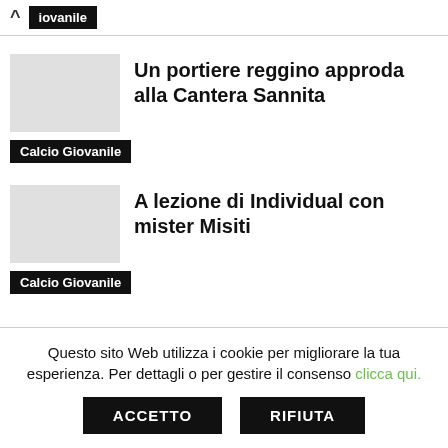^ iovanile
Un portiere reggino approda alla Cantera Sannita
Calcio Giovanile
A lezione di Individual con mister Misiti
Calcio Giovanile
Questo sito Web utilizza i cookie per migliorare la tua esperienza. Per dettagli o per gestire il consenso clicca qui.
ACCETTO
RIFIUTA